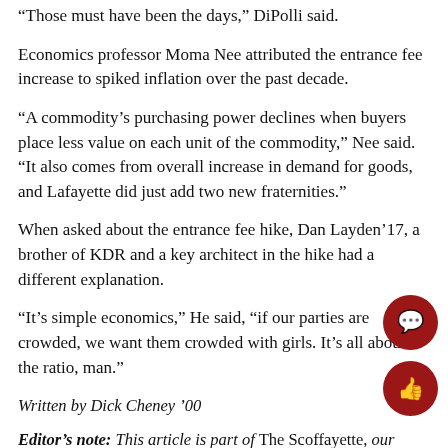“Those must have been the days,” DiPolli said.
Economics professor Moma Nee attributed the entrance fee increase to spiked inflation over the past decade.
“A commodity’s purchasing power declines when buyers place less value on each unit of the commodity,” Nee said. “It also comes from overall increase in demand for goods, and Lafayette did just add two new fraternities.”
When asked about the entrance fee hike, Dan Layden ’17, a brother of KDR and a key architect in the hike had a different explanation.
“It’s simple economics,” He said, “if our parties are crowded, we want them crowded with girls. It’s all about the ratio, man.”
Written by Dick Cheney ’00
Editor’s note: This article is part of The Scoffayette, our satire April Fool’s edition.